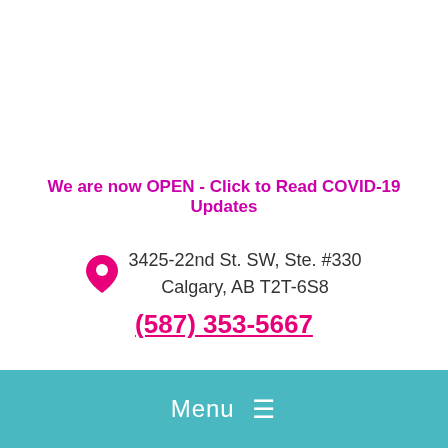We are now OPEN - Click to Read COVID-19 Updates
3425-22nd St. SW, Ste. #330
Calgary, AB T2T-6S8
(587) 353-5667
Menu ≡